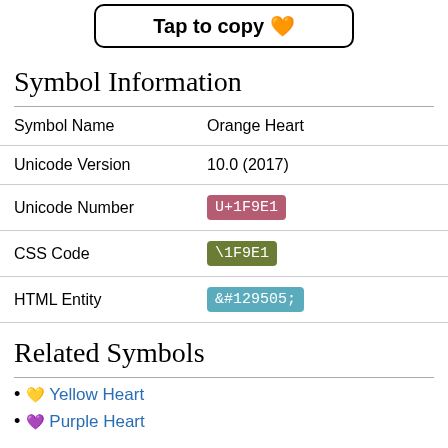[Figure (other): Button with rounded rectangle border and bold text: 'Tap to copy 🧡']
Symbol Information
|  |  |
| --- | --- |
| Symbol Name | Orange Heart |
| Unicode Version | 10.0 (2017) |
| Unicode Number | U+1F9E1 |
| CSS Code | \1F9E1 |
| HTML Entity | &#129505; |
Related Symbols
🟡 Yellow Heart
💜 Purple Heart